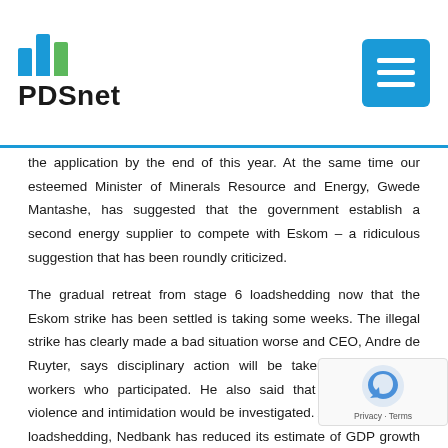[Figure (logo): PDSnet logo with three blue/green vertical bars and bold text 'PDSnet']
the application by the end of this year. At the same time our esteemed Minister of Minerals Resource and Energy, Gwede Mantashe, has suggested that the government establish a second energy supplier to compete with Eskom – a ridiculous suggestion that has been roundly criticized.
The gradual retreat from stage 6 loadshedding now that the Eskom strike has been settled is taking some weeks. The illegal strike has clearly made a bad situation worse and CEO, Andre de Ruyter, says disciplinary action will be taken against those workers who participated. He also said that all incidents of violence and intimidation would be investigated. As a result of the loadshedding, Nedbank has reduced its estimate of GDP growth in 2022. In the meantime, the loadshedding has resulted in far more individuals and businesses deciding to get off the grid. It has been a major boost for the move